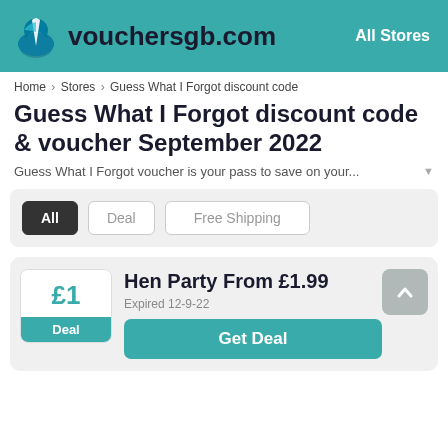vouchersgb.com — All Stores
Home > Stores > Guess What I Forgot discount code
Guess What I Forgot discount code & voucher September 2022
Guess What I Forgot voucher is your pass to save on your...
All | Deal | Free Shipping
Hen Party From £1.99
Expired 12-9-22
Get Deal